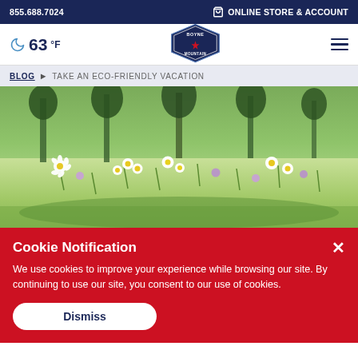855.688.7024 | ONLINE STORE & ACCOUNT
[Figure (logo): Boyne Mountain logo — navy pentagon badge with red snowflake/star and text BOYNE MOUNTAIN]
63 °F
BLOG > TAKE AN ECO-FRIENDLY VACATION
[Figure (photo): Field of white and purple wildflowers (daisies/chamomile) with green grass and trees in background]
Cookie Notification
We use cookies to improve your experience while browsing our site. By continuing to use our site, you consent to our use of cookies.
Dismiss